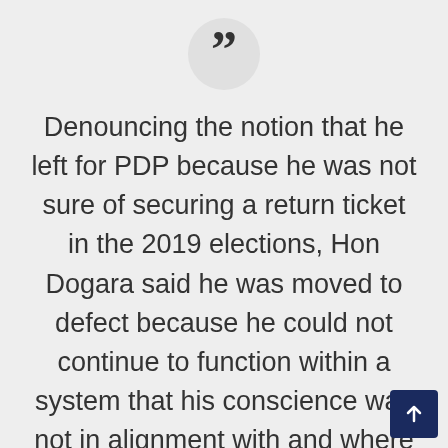[Figure (other): Large closing quotation mark icon inside a light grey circle]
Denouncing the notion that he left for PDP because he was not sure of securing a return ticket in the 2019 elections, Hon Dogara said he was moved to defect because he could not continue to function within a system that his conscience was not in alignment with and where he was not welcome. He added that he was one of the